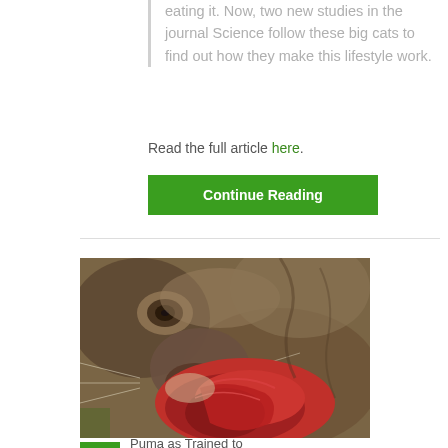eating it. Now, two new studies in the journal Science follow these big cats to find out how they make this lifestyle work.
Read the full article here.
Continue Reading
[Figure (photo): Close-up photograph of a large wild cat (mountain lion/cougar) eating raw red meat, showing the animal's face, eye, whiskers, and bloodied muzzle pressed against the prey.]
Puma as Trained to